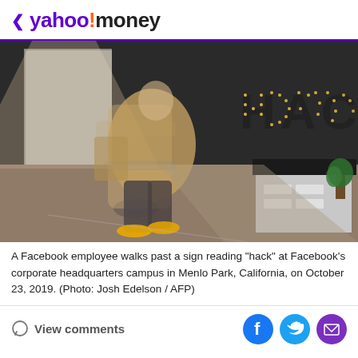< yahoo!money
[Figure (photo): A Facebook employee walking past a dark wall with 'HACK' spelled out in large marquee letters at Facebook's corporate headquarters campus in Menlo Park, California. The person is motion-blurred, wearing a tan jacket and yellow shoes.]
A Facebook employee walks past a sign reading "hack" at Facebook's corporate headquarters campus in Menlo Park, California, on October 23, 2019. (Photo: Josh Edelson / AFP)
View comments